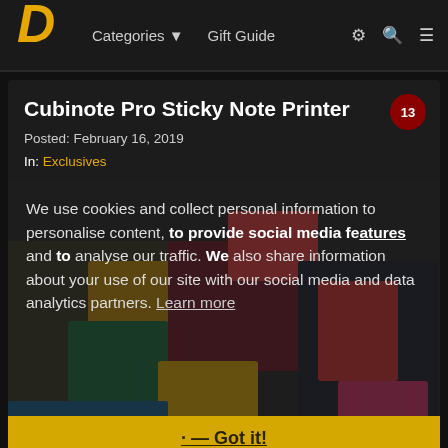Categories ▼  Gift Guide
Cubinote Pro Sticky Note Printer
Posted: February 16, 2019
In: Exclusives
[Figure (screenshot): Photo of Cubinote Pro Sticky Note Printer device with sticky notes on a desk, overlaid with cookie consent message: 'We use cookies and collect personal information to personalise content, to provide social media features and to analyse our traffic. We also share information about your use of our site with our social media and data analytics partners. Learn more' and a 'Got it!' button bar.]